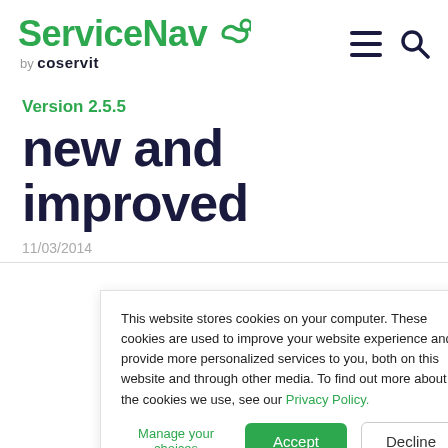ServiceNav by coservit
Version 2.5.5
new and improved
11/03/2014
This website stores cookies on your computer. These cookies are used to improve your website experience and provide more personalized services to you, both on this website and through other media. To find out more about the cookies we use, see our Privacy Policy.
Manage your choices | Accept | Decline